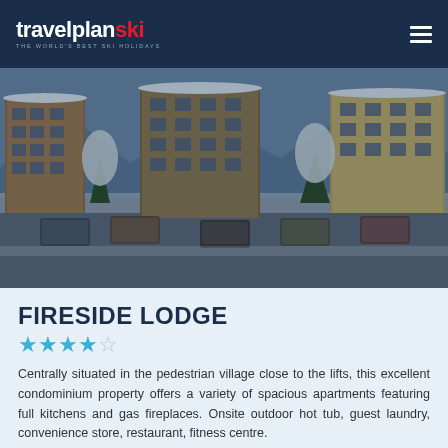travelplanski — THE WORLD'S BEST SKI HOLIDAYS
[Figure (photo): Aerial/elevated view of a snowy ski village with multi-storey condominium buildings, snow-covered cars parked in a lot, and snow-laden trees. The buildings are tan, yellow, and brown-toned with balconies.]
FIRESIDE LODGE
★★★★☆
Centrally situated in the pedestrian village close to the lifts, this excellent condominium property offers a variety of spacious apartments featuring full kitchens and gas fireplaces. Onsite outdoor hot tub, guest laundry, convenience store, restaurant, fitness centre.